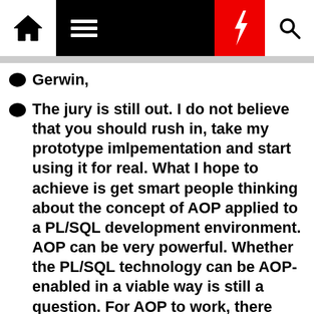[Navigation bar with home icon, hamburger menu, red lightning bolt icon, and search icon]
Gerwin,
The jury is still out. I do not believe that you should rush in, take my prototype imlpementation and start using it for real. What I hope to achieve is get smart people thinking about the concept of AOP applied to a PL/SQL development environment. AOP can be very powerful. Whether the PL/SQL technology can be AOP-enabled in a viable way is still a question. For AOP to work, there needs to be a blance between development taks and developer's and project manager's mentality on the one hand and supporting tools and